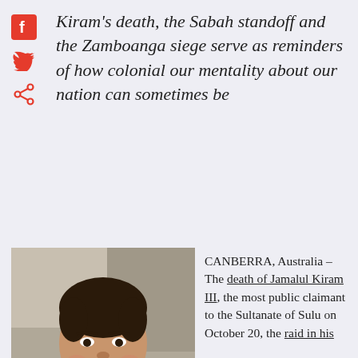[Figure (other): Social media share icons: Facebook (red square with 'f'), Twitter bird, and share icon arranged vertically on the left side]
Kiram's death, the Sabah standoff and the Zamboanga siege serve as reminders of how colonial our mentality about our nation can sometimes be
[Figure (photo): Portrait photo of a young Asian man smiling, wearing a collared shirt, indoor background]
CANBERRA, Australia – The death of Jamalul Kiram III, the most public claimant to the Sultanate of Sulu on October 20, the raid in his